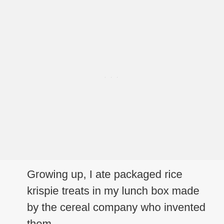[Figure (photo): Large mostly blank/white image area with faint watermark text in the upper portion of the page]
Growing up, I ate packaged rice krispie treats in my lunch box made by the cereal company who invented them.